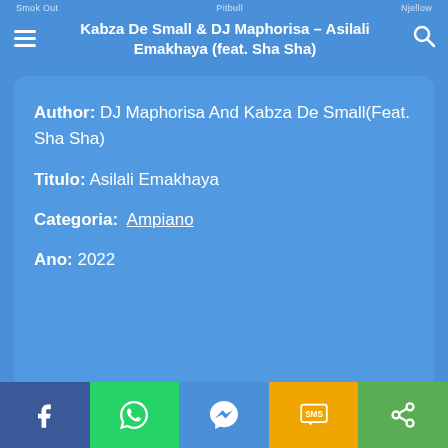Smok Out   |   Pitbull   |   Njellow
Kabza De Small & DJ Maphorisa – Asilali Emakhaya (feat. Sha Sha)
Author: DJ Maphorisa And Kabza De Small(Feat. Sha Sha)
Titulo: Asilali Emakhaya
Categoria: Ampiano
Ano: 2022
Facebook | WhatsApp | Messenger | SMS | Share